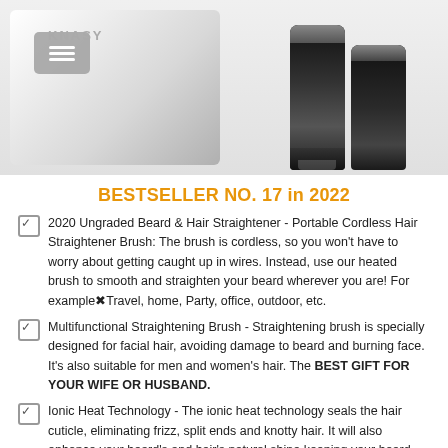[Figure (photo): Product images showing a white box with menu icon on the left and two black hair straightener sticks on the right]
BESTSELLER NO. 17 in 2022
2020 Ungraded Beard & Hair Straightener - Portable Cordless Hair Straightener Brush: The brush is cordless, so you won't have to worry about getting caught up in wires. Instead, use our heated brush to smooth and straighten your beard wherever you are! For example⁠Travel, home, Party, office, outdoor, etc.
Multifunctional Straightening Brush - Straightening brush is specially designed for facial hair, avoiding damage to beard and burning face. It's also suitable for men and women's hair. The BEST GIFT FOR YOUR WIFE OR HUSBAND.
Ionic Heat Technology - The ionic heat technology seals the hair cuticle, eliminating frizz, split ends and knotty hair. It will also enhance your beard's and hair's natural shine keeping your beard and hair